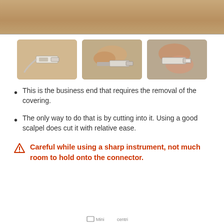[Figure (photo): Top portion of previous image showing beige/tan background — partial crop]
[Figure (photo): Three photos side by side: (1) USB connector on beige background, (2) hand holding connector near cable end, (3) fingers gripping connector close-up]
This is the business end that requires the removal of the covering.
The only way to do that is by cutting into it. Using a good scalpel does cut it with relative ease.
Careful while using a sharp instrument, not much room to hold onto the connector.